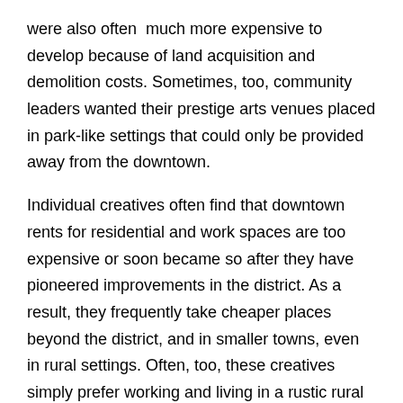were also often  much more expensive to develop because of land acquisition and demolition costs. Sometimes, too, community leaders wanted their prestige arts venues placed in park-like settings that could only be provided away from the downtown.
Individual creatives often find that downtown rents for residential and work spaces are too expensive or soon became so after they have pioneered improvements in the district. As a result, they frequently take cheaper places beyond the district, and in smaller towns, even in rural settings. Often, too, these creatives simply prefer working and living in a rustic rural setting.
Some Examples of Arts Archipelagoes